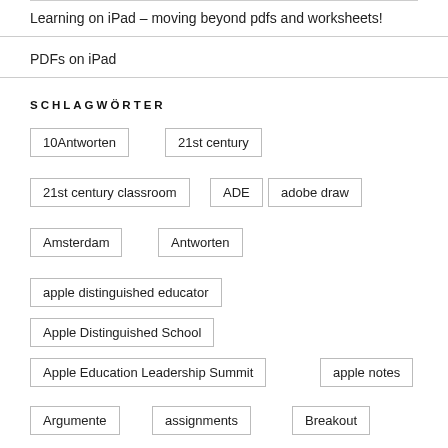Learning on iPad – moving beyond pdfs and worksheets!
PDFs on iPad
SCHLAGWÖRTER
10Antworten
21st century
21st century classroom
ADE
adobe draw
Amsterdam
Antworten
apple distinguished educator
Apple Distinguished School
Apple Education Leadership Summit
apple notes
Argumente
assignments
Breakout